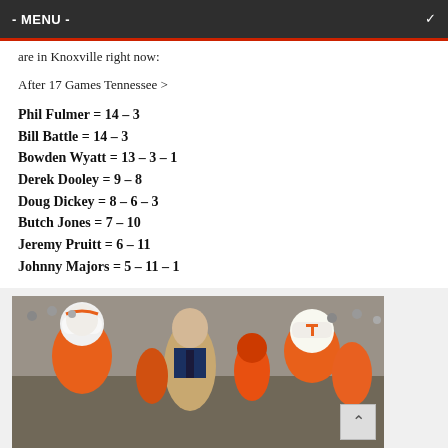- MENU -
are in Knoxville right now:
After 17 Games Tennessee >
Phil Fulmer = 14 – 3
Bill Battle = 14 – 3
Bowden Wyatt = 13 – 3 – 1
Derek Dooley = 9 – 8
Doug Dickey = 8 – 6 – 3
Butch Jones = 7 – 10
Jeremy Pruitt = 6 – 11
Johnny Majors = 5 – 11 – 1
[Figure (photo): Photograph of a football coach in a tan jacket and tie walking with Tennessee Volunteers football players in orange and white helmets and uniforms.]